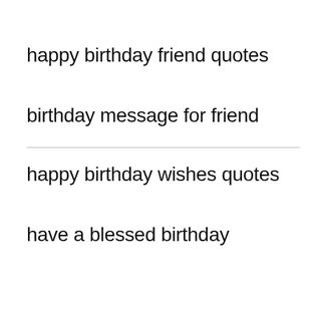happy birthday friend quotes
birthday message for friend
happy birthday wishes quotes
have a blessed birthday